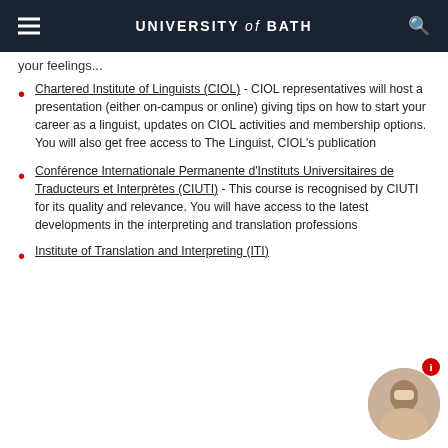UNIVERSITY of BATH
your feelings...
Chartered Institute of Linguists (CIOL) - CIOL representatives will host a presentation (either on-campus or online) giving tips on how to start your career as a linguist, updates on CIOL activities and membership options. You will also get free access to The Linguist, CIOL's publication
Conférence Internationale Permanente d'Instituts Universitaires de Traducteurs et Interprètes (CIUTI) - This course is recognised by CIUTI for its quality and relevance. You will have access to the latest developments in the interpreting and translation professions
Institute of Translation and Interpreting (ITI)